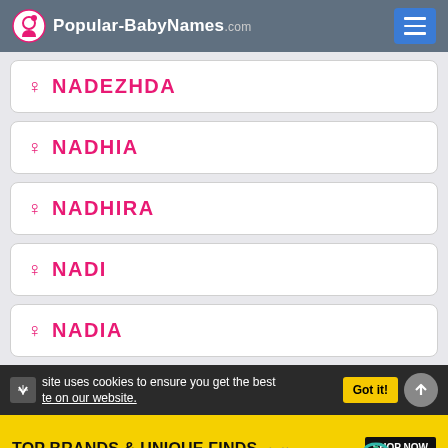Popular-BabyNames.com
NADEZHDA
NADHIA
NADHIRA
NADI
NADIA
site uses cookies to ensure you get the best te on our website.
Got it!
TOP BRANDS & UNIQUE FINDS
Daily deals up to 70% off